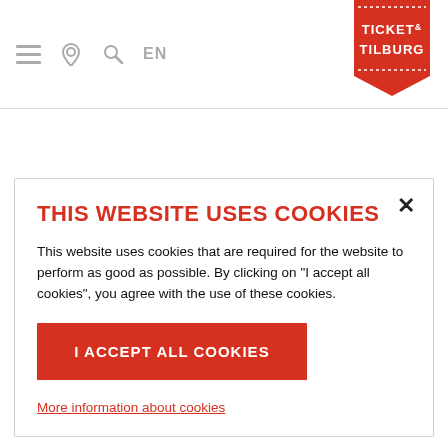≡ ◉ 🔍 EN — Ticket & Tilburg logo
THIS WEBSITE USES COOKIES
This website uses cookies that are required for the website to perform as good as possible. By clicking on "I accept all cookies", you agree with the use of these cookies.
I ACCEPT ALL COOKIES
More information about cookies